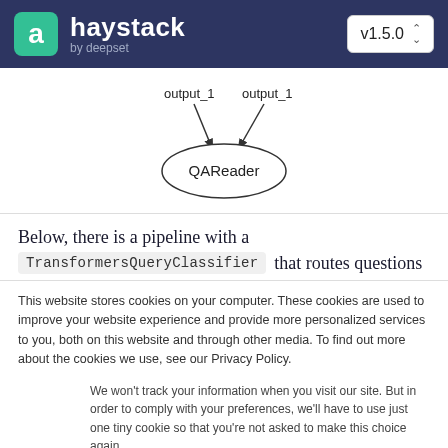haystack by deepset v1.5.0
[Figure (flowchart): Diagram showing two arrows labeled output_1 converging into a node labeled QAReader (ellipse shape)]
Below, there is a pipeline with a TransformersQueryClassifier that routes questions
This website stores cookies on your computer. These cookies are used to improve your website experience and provide more personalized services to you, both on this website and through other media. To find out more about the cookies we use, see our Privacy Policy.
We won't track your information when you visit our site. But in order to comply with your preferences, we'll have to use just one tiny cookie so that you're not asked to make this choice again.